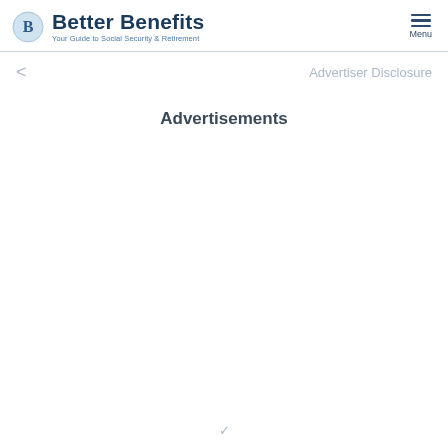Better Benefits — Your Guide to Social Security & Retirement
< Advertiser Disclosure
Advertisements